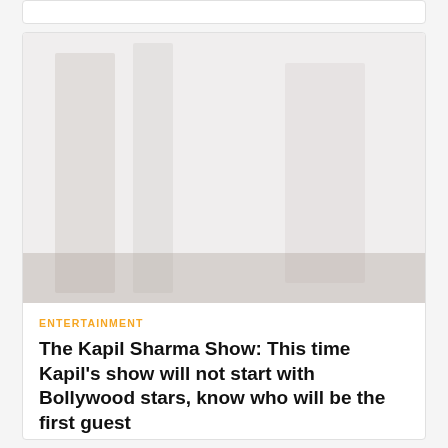[Figure (photo): Faded/light background photo of what appears to be an indoor set or studio environment with pillars and furniture, very low contrast]
ENTERTAINMENT
The Kapil Sharma Show: This time Kapil's show will not start with Bollywood stars, know who will be the first guest
Granthshala India - August 29, 2022